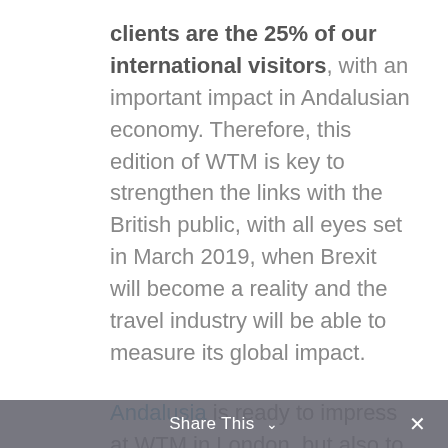clients are the 25% of our international visitors, with an important impact in Andalusian economy. Therefore, this edition of WTM is key to strengthen the links with the British public, with all eyes set in March 2019, when Brexit will become a reality and the travel industry will be able to measure its global impact.
Andalusia is ready to impress at WTM in London, but also to all those who celebrate their events here, as already did in IMEX Las
Share This ∨  ✕